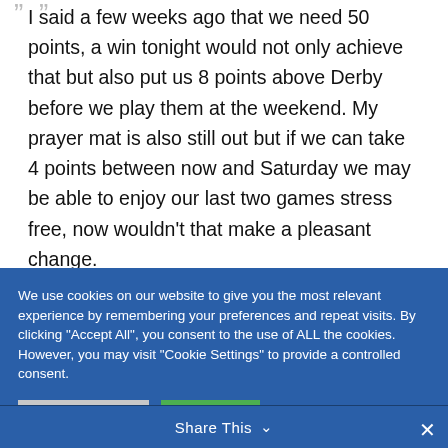I said a few weeks ago that we need 50 points, a win tonight would not only achieve that but also put us 8 points above Derby before we play them at the weekend. My prayer mat is also still out but if we can take 4 points between now and Saturday we may be able to enjoy our last two games stress free, now wouldn't that make a pleasant change.
We use cookies on our website to give you the most relevant experience by remembering your preferences and repeat visits. By clicking "Accept All", you consent to the use of ALL the cookies. However, you may visit "Cookie Settings" to provide a controlled consent.
Share This